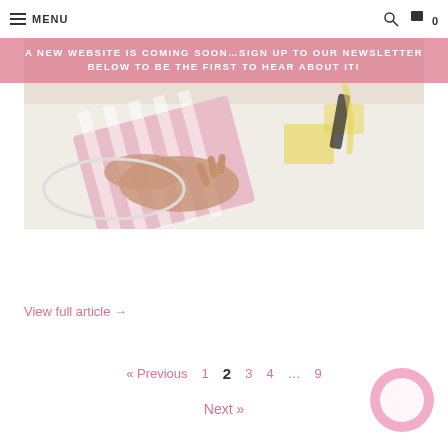MENU | search | cart 0
A NEW WEBSITE IS COMING SOON…SIGN UP TO OUR NEWSLETTER BELOW TO BE THE FIRST TO HEAR ABOUT IT!
[Figure (photo): Hands wrapping or folding striped pink and white paper/fabric on a table with yellow paint or adhesive marks]
View full article →
« Previous  1  2  3  4  ...  9
Next »